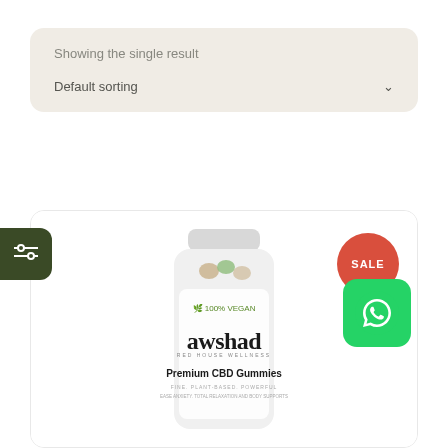Showing the single result
Default sorting
[Figure (photo): Awshad Premium CBD Gummies product bottle — white cylindrical bottle with green leaf logo, 'awshad' brand name in bold black serif, 'Premium CBD Gummies' text, and '100% VEGAN' label. A red circular SALE badge and a WhatsApp icon overlay appear in the top-right of the card.]